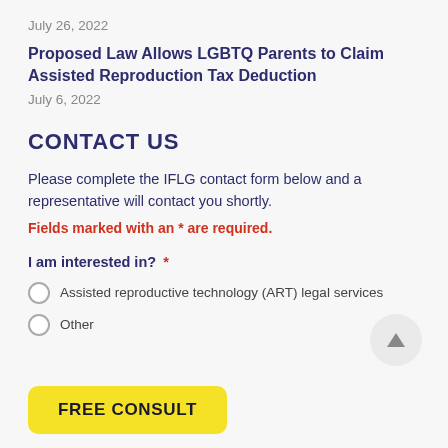July 26, 2022
Proposed Law Allows LGBTQ Parents to Claim Assisted Reproduction Tax Deduction
July 6, 2022
CONTACT US
Please complete the IFLG contact form below and a representative will contact you shortly.
Fields marked with an * are required.
I am interested in?  *
Assisted reproductive technology (ART) legal services
Other
FREE CONSULT